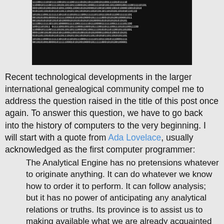[Figure (other): Black image filled with white binary digits (0s and 1s) in dense rows]
Recent technological developments in the larger international genealogical community compel me to address the question raised in the title of this post once again. To answer this question, we have to go back into the history of computers to the very beginning. I will start with a quote from Ada Lovelace, usually acknowledged as the first computer programmer:
The Analytical Engine has no pretensions whatever to originate anything. It can do whatever we know how to order it to perform. It can follow analysis; but it has no power of anticipating any analytical relations or truths. Its province is to assist us to making available what we are already acquainted with.